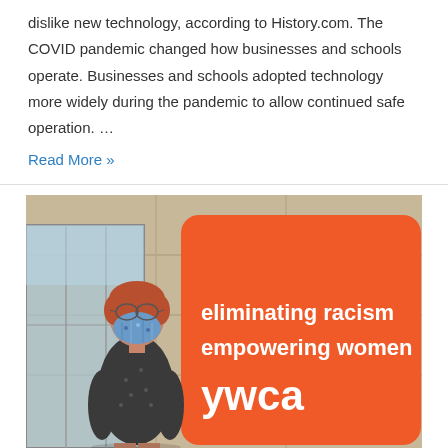dislike new technology, according to History.com. The COVID pandemic changed how businesses and schools operate. Businesses and schools adopted technology more widely during the pandemic to allow continued safe operation. …
Read More »
[Figure (photo): A person wearing a blue floral face mask standing in front of a building, next to a large orange YWCA sign that reads 'eliminating racism empowering women ywca'.]